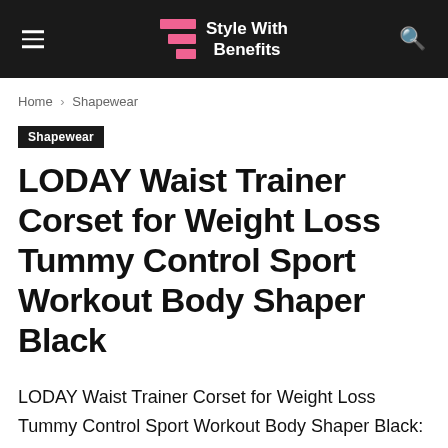Style With Benefits
Home › Shapewear
Shapewear
LODAY Waist Trainer Corset for Weight Loss Tummy Control Sport Workout Body Shaper Black
LODAY Waist Trainer Corset for Weight Loss Tummy Control Sport Workout Body Shaper Black: